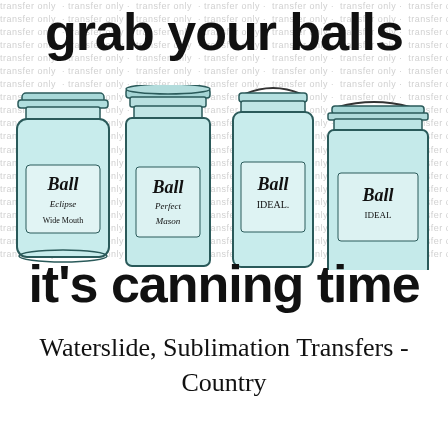[Figure (illustration): Promotional graphic with large bold text reading 'grab your balls' at top, four vintage Ball mason jars (Ball Eclipse Wide Mouth, Ball Perfect Mason, Ball Ideal, Ball Ideal) illustrated in teal/aqua color in the middle, and large bold text reading 'it's canning time' at the bottom. Background has repeating 'transfer only' watermark text.]
Waterslide, Sublimation Transfers - Country